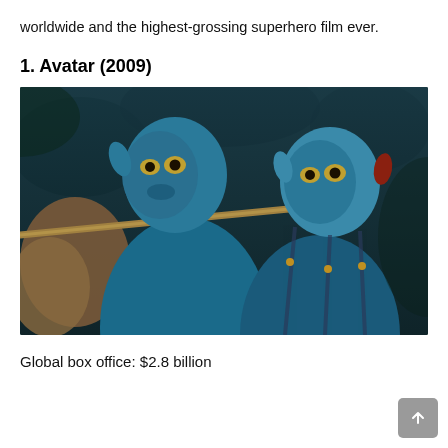worldwide and the highest-grossing superhero film ever.
1. Avatar (2009)
[Figure (photo): Still from the 2009 film Avatar showing two blue Na'vi characters, one aiming a bow and arrow in a forest setting.]
Global box office: $2.8 billion